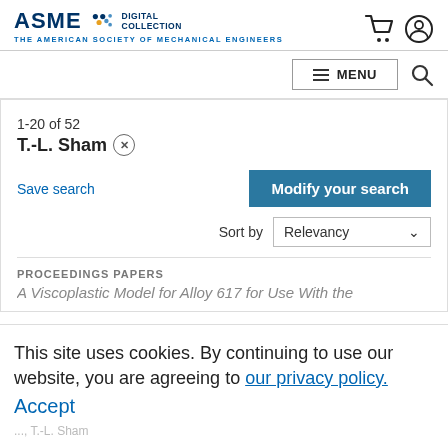[Figure (logo): ASME Digital Collection logo with dots icon and tagline 'THE AMERICAN SOCIETY OF MECHANICAL ENGINEERS']
MENU (navigation bar with search icon)
1-20 of 52
T.-L. Sham ×
Save search
Modify your search
Sort by Relevancy
PROCEEDINGS PAPERS
A Viscoplastic Model for Alloy 617 for Use With the
This site uses cookies. By continuing to use our website, you are agreeing to our privacy policy. Accept